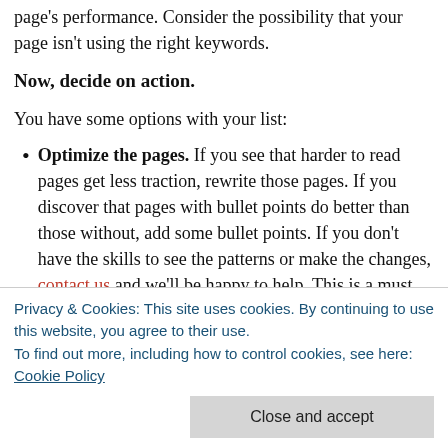page's performance. Consider the possibility that your page isn't using the right keywords.
Now, decide on action.
You have some options with your list:
Optimize the pages. If you see that harder to read pages get less traction, rewrite those pages. If you discover that pages with bullet points do better than those without, add some bullet points. If you don't have the skills to see the patterns or make the changes, contact us and we'll be happy to help. This is a must for any pages in your main navigation; if it doesn't matter that they're not performing well, they don't belong in...
...of potential from a business standpoint, leave it alone.
Privacy & Cookies: This site uses cookies. By continuing to use this website, you agree to their use.
To find out more, including how to control cookies, see here: Cookie Policy
Close and accept